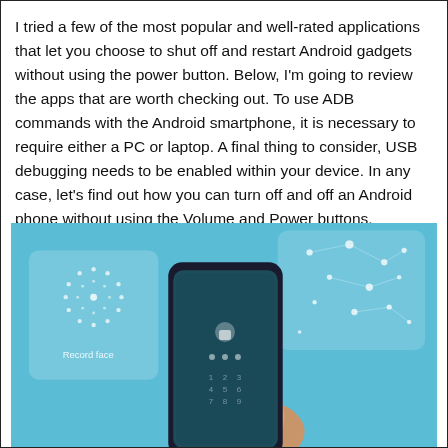I tried a few of the most popular and well-rated applications that let you choose to shut off and restart Android gadgets without using the power button. Below, I'm going to review the apps that are worth checking out. To use ADB commands with the Android smartphone, it is necessary to require either a PC or laptop. A final thing to consider, USB debugging needs to be enabled within your device. In any case, let's find out how you can turn off and off an Android phone without using the Volume and Power buttons.
[Figure (photo): A hand holding an Android smartphone against a light blue background. The phone screen shows a lock/unlock interface. Around the phone are illustrated UI panels including one with dotted circle icons labeled 'Record face' and another with a constellation-like dot pattern, suggesting facial recognition or biometric setup.]